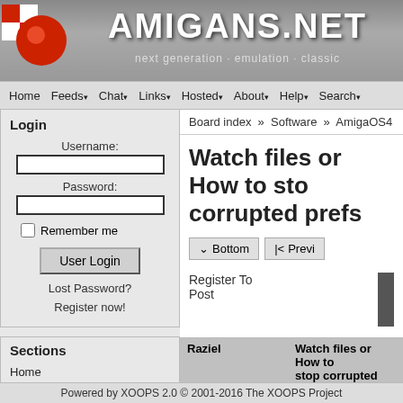AMIGANS.NET — next generation · emulation · classic
Home Feeds Chat Links Hosted About Help Search
Board index » Software » AmigaOS4
Watch files or How to stop corrupted prefs
Bottom | Previ
Register To Post
Raziel | Watch files or How to stop corrupted prefs
Home away from home
Is there a program that files for write access ar
I have an annoying cas corrupted prefs file.
Login
Username:
Password:
Remember me
User Login
Lost Password?
Register now!
Sections
Home
Forums
News
User Profile
Headlines
Powered by XOOPS 2.0 © 2001-2016 The XOOPS Project